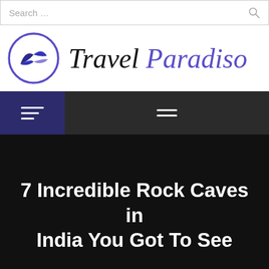Search ...
[Figure (logo): Travel Paradiso logo with circular bird emblem and italic text 'Travel Paradiso']
[Figure (infographic): Navigation bar with hamburger menu icons on dark background]
7 Incredible Rock Caves in India You Got To See